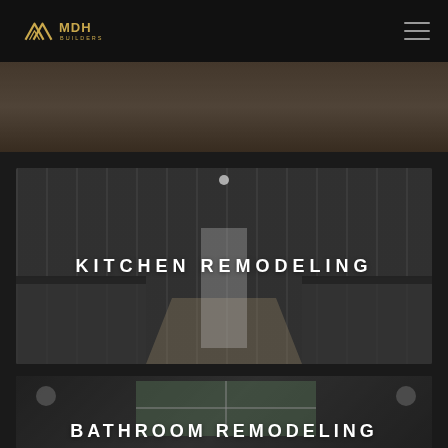MDH BUILDERS
[Figure (photo): Partial view of a room interior, cropped at top of page]
[Figure (photo): Kitchen remodeling photo showing white cabinets, dark countertops, and wood floors in a long kitchen]
KITCHEN REMODELING
[Figure (photo): Bathroom remodeling photo showing a bathroom with large window and dark tile]
BATHROOM REMODELING